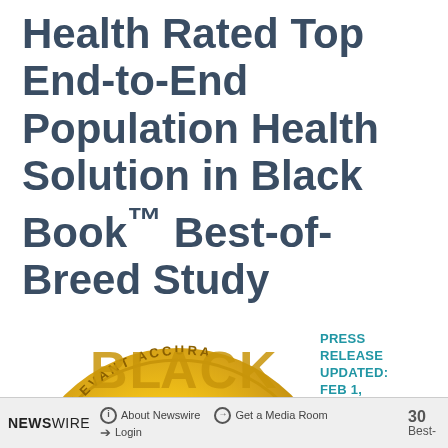Health Rated Top End-to-End Population Health Solution in Black Book™ Best-of-Breed Study
[Figure (illustration): Gold coin/medal with text 'RELEVANT ACCURATE' around the edge and 'BLACK BOOK' text visible on the face, partially shown with gradient gold coloring]
PRESS RELEASE UPDATED: FEB 1, 2017
NEWSWIRE   About Newswire   Get a Media Room   Login   30   Best-